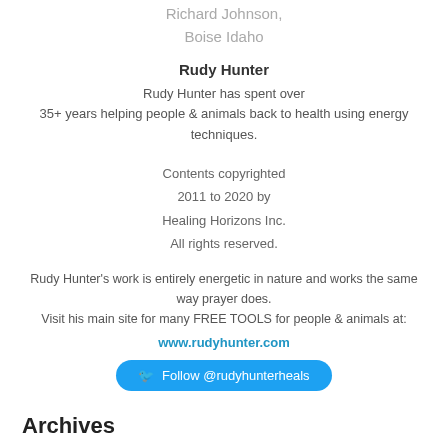Richard Johnson,
Boise Idaho
Rudy Hunter
Rudy Hunter has spent over 35+ years helping people & animals back to health using energy techniques.
Contents copyrighted
2011 to 2020 by
Healing Horizons Inc.
All rights reserved.
Rudy Hunter's work is entirely energetic in nature and works the same way prayer does.
Visit his main site for many FREE TOOLS for people & animals at:
www.rudyhunter.com
Follow @rudyhunterheals
Archives
April 2022
December 2021
September 2021